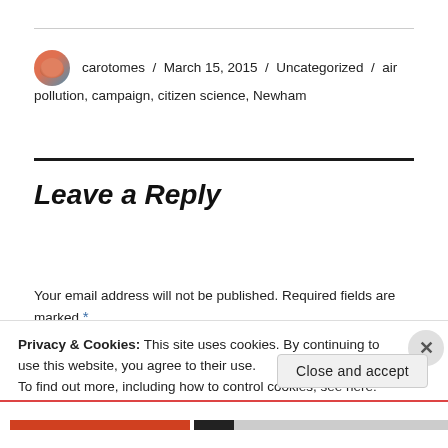carotomes / March 15, 2015 / Uncategorized / air pollution, campaign, citizen science, Newham
Leave a Reply
Your email address will not be published. Required fields are marked *
Privacy & Cookies: This site uses cookies. By continuing to use this website, you agree to their use.
To find out more, including how to control cookies, see here: Cookie Policy
Close and accept